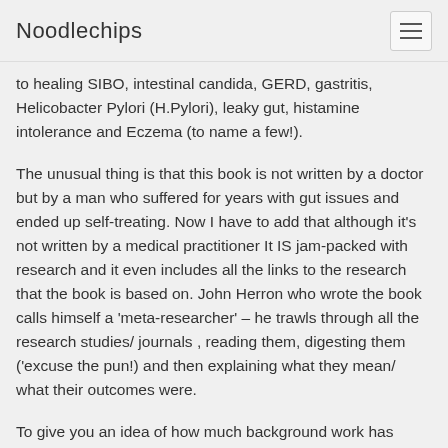Noodlechips
to healing SIBO, intestinal candida, GERD, gastritis, Helicobacter Pylori (H.Pylori), leaky gut, histamine intolerance and Eczema (to name a few!).
The unusual thing is that this book is not written by a doctor but by a man who suffered for years with gut issues and ended up self-treating. Now I have to add that although it’s not written by a medical practitioner It IS jam-packed with research and it even includes all the links to the research that the book is based on. John Herron who wrote the book calls himself a ‘meta-researcher’ – he trawls through all the research studies/ journals , reading them, digesting them (‘excuse the pun!) and then explaining what they mean/ what their outcomes were.
To give you an idea of how much background work has